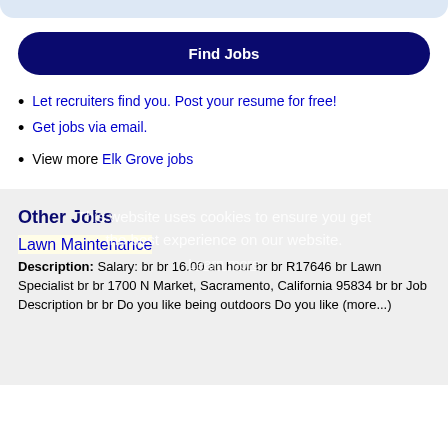[Figure (other): Top decorative bar, light blue rounded shape at top of page]
Find Jobs
Let recruiters find you. Post your resume for free!
Get jobs via email.
View more Elk Grove jobs
Other Jobs
This website uses cookies to ensure you get the best experience on our website. Learn more
Lawn Maintenance
Description: Salary: br br 16.00 an hour br br R17646 br Lawn Specialist br br 1700 N Market, Sacramento, California 95834 br br Job Description br br Do you like being outdoors Do you like (more...)